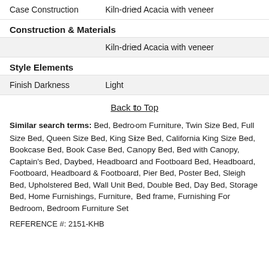| Case Construction | Kiln-dried Acacia with veneer |
Construction & Materials
|  | Kiln-dried Acacia with veneer |
Style Elements
| Finish Darkness | Light |
Back to Top
Similar search terms: Bed, Bedroom Furniture, Twin Size Bed, Full Size Bed, Queen Size Bed, King Size Bed, California King Size Bed, Bookcase Bed, Book Case Bed, Canopy Bed, Bed with Canopy, Captain's Bed, Daybed, Headboard and Footboard Bed, Headboard, Footboard, Headboard & Footboard, Pier Bed, Poster Bed, Sleigh Bed, Upholstered Bed, Wall Unit Bed, Double Bed, Day Bed, Storage Bed, Home Furnishings, Furniture, Bed frame, Furnishing For Bedroom, Bedroom Furniture Set
REFERENCE #: 2151-KHB